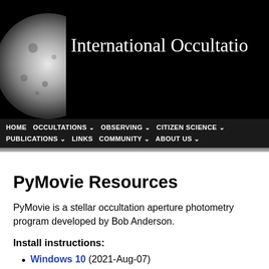[Figure (photo): Website header banner with black background, moon photograph on left, and 'International Occultatio' text (truncated) in white serif font on right]
HOME  OCCULTATIONS ⌄  OBSERVING ⌄  CITIZEN SCIENCE ⌄  PUBLICATIONS ⌄  LINKS  COMMUNITY ⌄  ABOUT US ⌄
PyMovie Resources
PyMovie is a stellar occultation aperture photometry program developed by Bob Anderson.
Install instructions:
Windows 10 (2021-Aug-07)
Mac